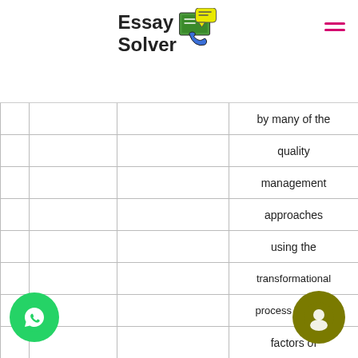[Figure (logo): EssaySolver logo with phone and chalkboard icons]
|  |  |  |  |
| --- | --- | --- | --- |
|  |  |  | by many of the |
|  |  |  | quality |
|  |  |  | management |
|  |  |  | approaches |
|  |  |  | using the |
|  |  |  | transformational |
|  |  |  | process success |
|  |  |  | factors of |
|  |  |  | involvement and |
|  |  | Evolutionary Learning (EL) | ownership. Huge efforts are expended t... |